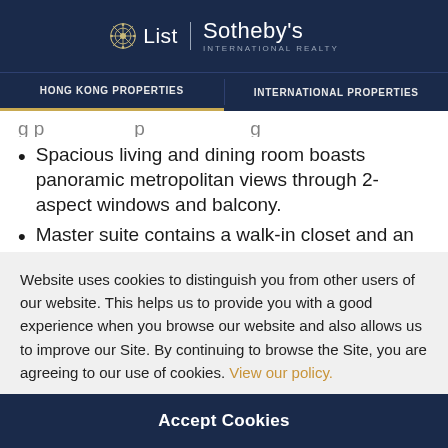List | Sotheby's International Realty
HONG KONG PROPERTIES | INTERNATIONAL PROPERTIES
Spacious living and dining room boasts panoramic metropolitan views through 2-aspect windows and balcony.
Master suite contains a walk-in closet and an ensuite bathroom.
3 More good-sized bedrooms, 1 of which en-suite, provide options for children and guests.
Dine-in kitchen includes all necessary appliances.
Website uses cookies to distinguish you from other users of our website. This helps us to provide you with a good experience when you browse our website and also allows us to improve our Site. By continuing to browse the Site, you are agreeing to our use of cookies. View our policy.
Accept Cookies